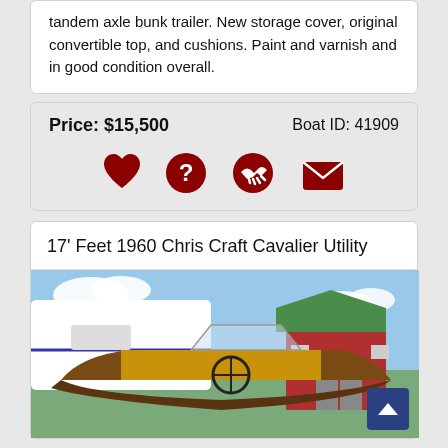tandem axle bunk trailer. New storage cover, original convertible top, and cushions. Paint and varnish and in good condition overall.
Price: $15,500
Boat ID: 41909
[Figure (infographic): Row of four dark red icons: heart (favorite), question mark (help), handshake (offer), envelope (email)]
17' Feet 1960 Chris Craft Cavalier Utility
[Figure (photo): Photo of a classic wooden Chris Craft Cavalier Utility boat parked outdoors near a red barn with green roof, showing the boat's interior, windshield, and steering wheel. Another white boat visible in background.]